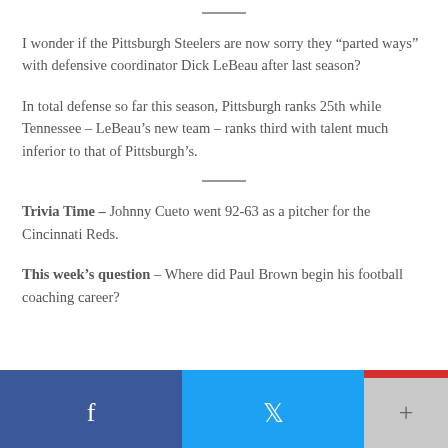I wonder if the Pittsburgh Steelers are now sorry they “parted ways” with defensive coordinator Dick LeBeau after last season?
In total defense so far this season, Pittsburgh ranks 25th while Tennessee – LeBeau’s new team – ranks third with talent much inferior to that of Pittsburgh’s.
Trivia Time – Johnny Cueto went 92-63 as a pitcher for the Cincinnati Reds.
This week’s question – Where did Paul Brown begin his football coaching career?